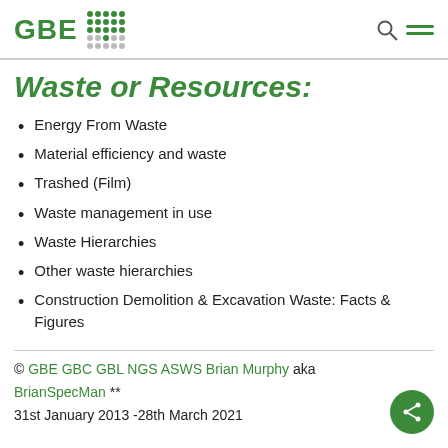GBE [logo]
Waste or Resources:
Energy From Waste
Material efficiency and waste
Trashed (Film)
Waste management in use
Waste Hierarchies
Other waste hierarchies
Construction Demolition & Excavation Waste: Facts & Figures
© GBE GBC GBL NGS ASWS Brian Murphy aka BrianSpecMan ** 31st January 2013 -28th March 2021